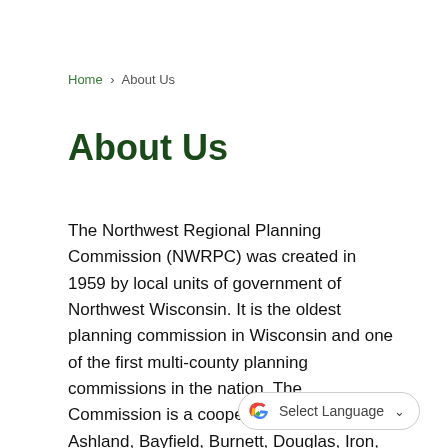Home › About Us
About Us
The Northwest Regional Planning Commission (NWRPC) was created in 1959 by local units of government of Northwest Wisconsin. It is the oldest planning commission in Wisconsin and one of the first multi-county planning commissions in the nation. The Commission is a cooperative venture of Ashland, Bayfield, Burnett, Douglas, Iron, Price, Rusk, Sawyer, Taylor, and Washburn Counties and the tribal nations of Bad River, Red Cliff, Lac du Flambeau, Lac Courte Oreilles, and St. Croix.